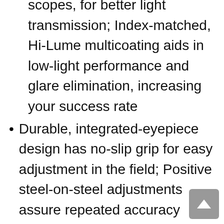scopes, for better light transmission; Index-matched, Hi-Lume multicoating aids in low-light performance and glare elimination, increasing your success rate
Durable, integrated-eyepiece design has no-slip grip for easy adjustment in the field; Positive steel-on-steel adjustments assure repeated accuracy
Durable, stress-free, solid 1-piece outer tube withstands shock and vibrations of even the heaviest recoil
Covered by the Burris Forever